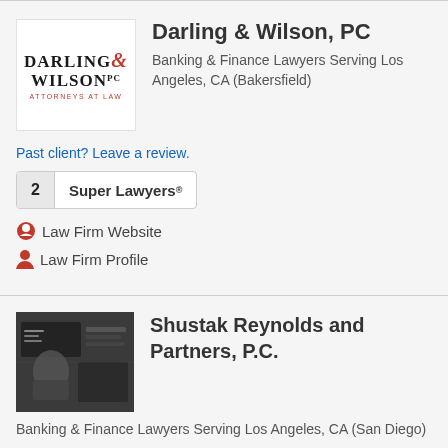[Figure (logo): Darling & Wilson PC Attorneys at Law logo]
Darling & Wilson, PC
Banking & Finance Lawyers Serving Los Angeles, CA (Bakersfield)
Past client? Leave a review.
2 Super Lawyers®
Law Firm Website
Law Firm Profile
[Figure (photo): Stock trading floor photo used as firm image for Shustak Reynolds and Partners]
Shustak Reynolds and Partners, P.C.
Banking & Finance Lawyers Serving Los Angeles, CA (San Diego)